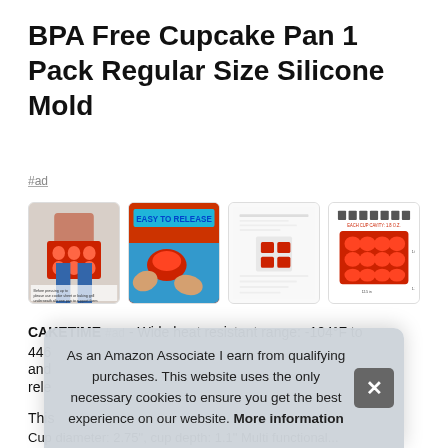BPA Free Cupcake Pan 1 Pack Regular Size Silicone Mold
#ad
[Figure (photo): Four product thumbnail images of a red silicone cupcake mold: person holding mold, 'Easy to Release' demo, product spec sheet, and dimension diagram]
CAKETIME #ad - Wide heat resistant range: -104°F to 446 and rele
This
Cup diameter: 2.75", cup depth: 1.1" Multi functional...
As an Amazon Associate I earn from qualifying purchases. This website uses the only necessary cookies to ensure you get the best experience on our website. More information